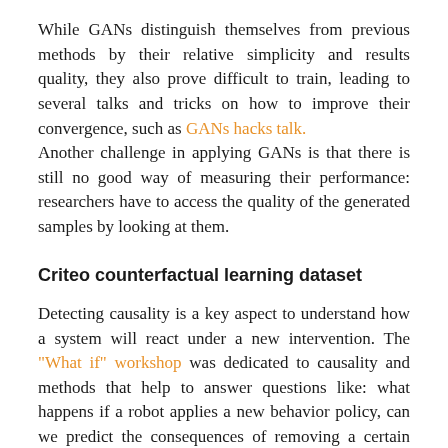While GANs distinguish themselves from previous methods by their relative simplicity and results quality, they also prove difficult to train, leading to several talks and tricks on how to improve their convergence, such as GANs hacks talk. Another challenge in applying GANs is that there is still no good way of measuring their performance: researchers have to access the quality of the generated samples by looking at them.
Criteo counterfactual learning dataset
Detecting causality is a key aspect to understand how a system will react under a new intervention. The "What if" workshop was dedicated to causality and methods that help to answer questions like: what happens if a robot applies a new behavior policy, can we predict the consequences of removing a certain gene in a biological cell on its phenotype, how a user will react if Criteo implements a new recommendation engine.